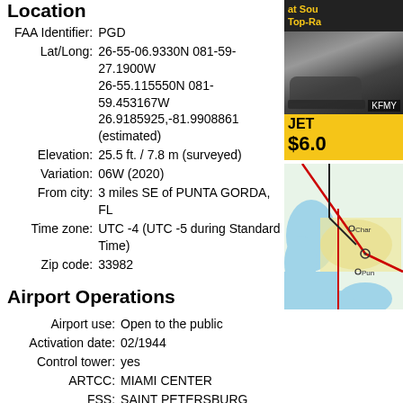Location
FAA Identifier: PGD
Lat/Long: 26-55-06.9330N 081-59-27.1900W
26-55.115550N 081-59.453167W
26.9185925,-81.9908861
(estimated)
Elevation: 25.5 ft. / 7.8 m (surveyed)
Variation: 06W (2020)
From city: 3 miles SE of PUNTA GORDA, FL
Time zone: UTC -4 (UTC -5 during Standard Time)
Zip code: 33982
Airport Operations
Airport use: Open to the public
Activation date: 02/1944
Control tower: yes
ARTCC: MIAMI CENTER
FSS: SAINT PETERSBURG FLIGHT SERVICE STATION
NOTAMs facility: PGD (NOTAM-D service available)
Attendance: CONTINUOUS
Wind indicator: lighted
Segmented circle: yes
[Figure (photo): Advertisement banner showing airport/aviation with KFMY label, JET heading, price $6.0]
[Figure (map): Aeronautical sectional map showing Punta Gorda area with roads, water bodies, and airport markers]